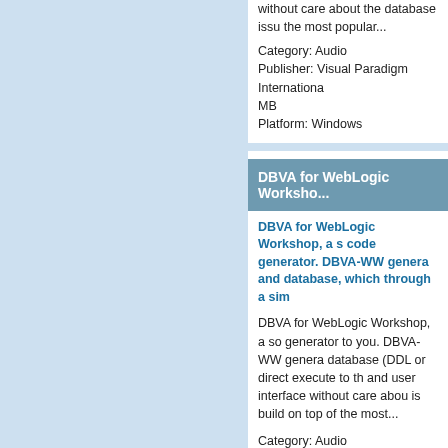without care about the database issues the most popular...
Category: Audio Publisher: Visual Paradigm International MB Platform: Windows
DBVA for WebLogic Worksho...
DBVA for WebLogic Workshop, a sophisticated code generator. DBVA-WW generates real and database, which through a sim...
DBVA for WebLogic Workshop, a sophisticated generator to you. DBVA-WW generates database (DDL or direct execute to the and user interface without care about is build on top of the most...
Category: Audio Publisher: Visual Paradigm International MB Platform: Windows
DBVA for IntelliJ IDEA for Win...
DBVA for IntelliJ IDEA, a sophisticated generator. DBVA-IJ generates real database, which through a simple...
DBVA for IntelliJ IDEA, a sophisticated to you. DBVA-IJ generates real...